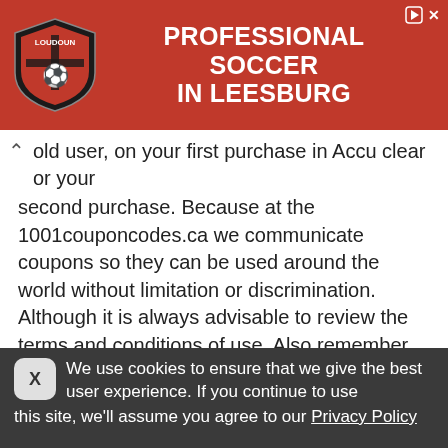[Figure (other): Loudoun Soccer advertisement banner with red background, shield logo on left, and white bold text 'PROFESSIONAL SOCCER IN LEESBURG']
old user, on your first purchase in Accu clear or your second purchase. Because at the 1001couponcodes.ca we communicate coupons so they can be used around the world without limitation or discrimination. Although it is always advisable to review the terms and conditions of use. Also remember that periodically we get codes to get free shipping on your purchase, so you forget to pay for postage.
We use cookies to ensure that we give the best user experience. If you continue to use this site, we'll assume you agree to our Privacy Policy